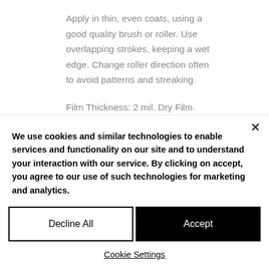Apply in thin, even coats, using a good quality brush or roller. Use overlapping strokes, keeping a wet edge. Change roller direction often to avoid patterns and streaking.
Film Thickness: 2 mil. Dry Film.
Coverage: Approximately 300 sq. ft. per gallon (28 sq. m per 3.79L),
We use cookies and similar technologies to enable services and functionality on our site and to understand your interaction with our service. By clicking on accept, you agree to our use of such technologies for marketing and analytics.
Decline All
Accept
Cookie Settings